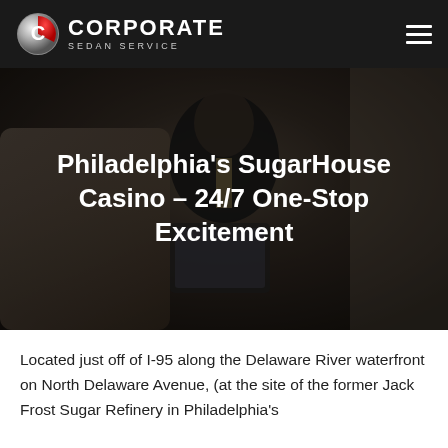Corporate Sedan Service
[Figure (photo): A man in a dark suit sitting in the back seat of a luxury sedan, looking at a tablet device. Dark, moody lighting with leather interior visible. Text overlay reads: Philadelphia's SugarHouse Casino – 24/7 One-Stop Excitement]
Philadelphia's SugarHouse Casino – 24/7 One-Stop Excitement
Located just off of I-95 along the Delaware River waterfront on North Delaware Avenue, (at the site of the former Jack Frost Sugar Refinery in Philadelphia's